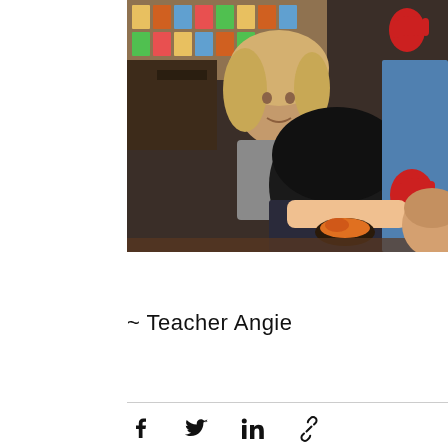[Figure (photo): Classroom scene with children and a teacher. A blonde girl looks down at the table, another child with dark hair is visible from behind, and a person wearing a shirt with red handprint decorations holds something orange. Bulletin board and wooden furniture visible in background.]
~ Teacher Angie
[Figure (infographic): Social share bar with Facebook, Twitter, LinkedIn, and link icons]